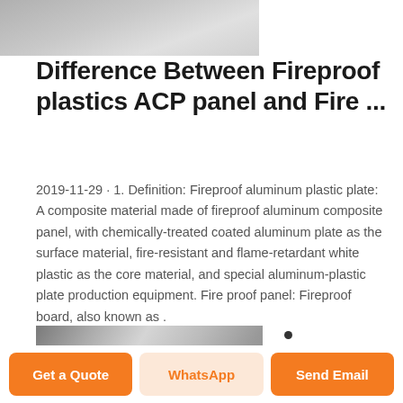[Figure (photo): Partial top image of aluminum/plastic panel material, cropped at top of page]
Difference Between Fireproof plastics ACP panel and Fire ...
2019-11-29 · 1. Definition: Fireproof aluminum plastic plate: A composite material made of fireproof aluminum composite panel, with chemically-treated coated aluminum plate as the surface material, fire-resistant and flame-retardant white plastic as the core material, and special aluminum-plastic plate production equipment. Fire proof panel: Fireproof board, also known as .
[Figure (photo): Photo of shiny aluminum composite panel sheets stacked, showing metallic surface with reflections]
A2 Grade
Get a Quote  WhatsApp  Send Email